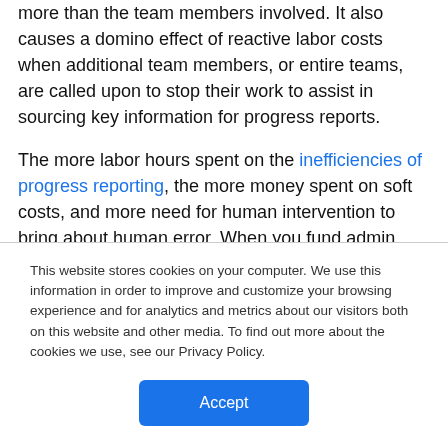more than the team members involved. It also causes a domino effect of reactive labor costs when additional team members, or entire teams, are called upon to stop their work to assist in sourcing key information for progress reports.

The more labor hours spent on the inefficiencies of progress reporting, the more money spent on soft costs, and more need for human intervention to bring about human error. When you fund admin hours that perpetuate this manual costly process, you're essentially paying your staff to fuel the inefficiency fire that's
This website stores cookies on your computer. We use this information in order to improve and customize your browsing experience and for analytics and metrics about our visitors both on this website and other media. To find out more about the cookies we use, see our Privacy Policy.